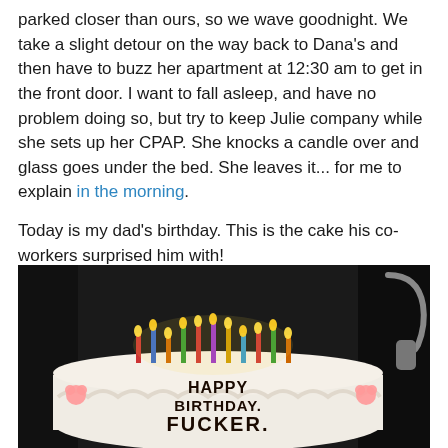parked closer than ours, so we wave goodnight. We take a slight detour on the way back to Dana's and then have to buzz her apartment at 12:30 am to get in the front door. I want to fall asleep, and have no problem doing so, but try to keep Julie company while she sets up her CPAP. She knocks a candle over and glass goes under the bed. She leaves it... for me to explain in the morning.
Today is my dad's birthday. This is the cake his co-workers surprised him with!
[Figure (photo): Photo of a birthday cake with lit candles. The cake has white frosting with Hello Kitty decorations and text written in dark icing reading 'HAPPY BIRTHDAY. FUCKER.' The background is dark.]